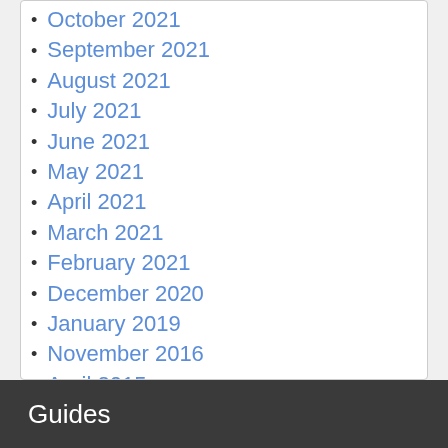October 2021
September 2021
August 2021
July 2021
June 2021
May 2021
April 2021
March 2021
February 2021
December 2020
January 2019
November 2016
April 2015
March 2015
February 2015
Guides